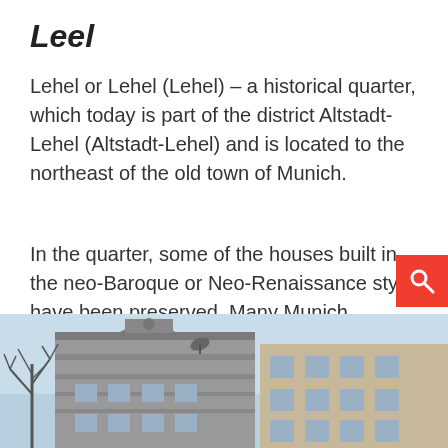Leel
Lehel or Lehel (Lehel) – a historical quarter, which today is part of the district Altstadt-Lehel (Altstadt-Lehel) and is located to the northeast of the old town of Munich.
In the quarter, some of the houses built in the neo-Baroque or Neo-Renaissance style have been preserved. Many Munich residents even say that this is the most beautiful quarter in the Bavarian capital.
[Figure (photo): Street-level photo of historical neo-Baroque or Neo-Renaissance style buildings in Lehel, Munich, with a bare tree on the left and blue sky in the background.]